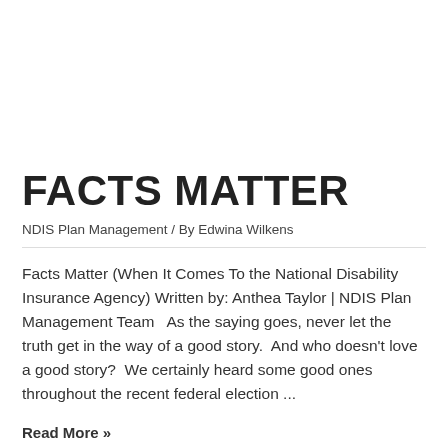FACTS MATTER
NDIS Plan Management / By Edwina Wilkens
Facts Matter (When It Comes To the National Disability Insurance Agency) Written by: Anthea Taylor | NDIS Plan Management Team   As the saying goes, never let the truth get in the way of a good story.  And who doesn't love a good story?  We certainly heard some good ones throughout the recent federal election ...
Read More »